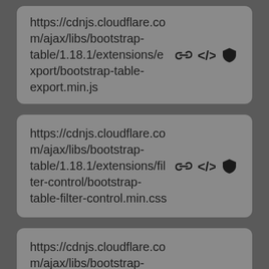https://cdnjs.cloudflare.com/ajax/libs/bootstrap-table/1.18.1/extensions/export/bootstrap-table-export.min.js
https://cdnjs.cloudflare.com/ajax/libs/bootstrap-table/1.18.1/extensions/filter-control/bootstrap-table-filter-control.min.css
https://cdnjs.cloudflare.com/ajax/libs/bootstrap-table/1.18.1/extensions/filter-control/bootstrap-table-filter-control.min.js